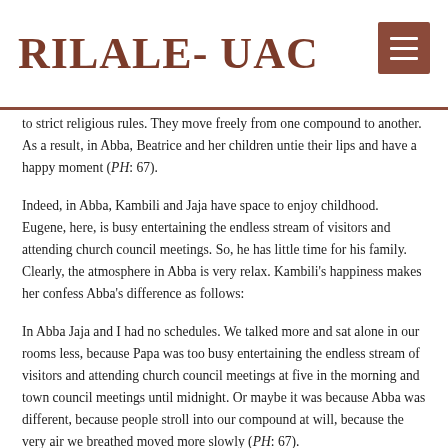RILALE- UAC
to strict religious rules. They move freely from one compound to another. As a result, in Abba, Beatrice and her children untie their lips and have a happy moment (PH: 67).
Indeed, in Abba, Kambili and Jaja have space to enjoy childhood. Eugene, here, is busy entertaining the endless stream of visitors and attending church council meetings. So, he has little time for his family. Clearly, the atmosphere in Abba is very relax. Kambili's happiness makes her confess Abba's difference as follows:
In Abba Jaja and I had no schedules. We talked more and sat alone in our rooms less, because Papa was too busy entertaining the endless stream of visitors and attending church council meetings at five in the morning and town council meetings until midnight. Or maybe it was because Abba was different, because people stroll into our compound at will, because the very air we breathed moved more slowly (PH: 67).
Another opportunity which makes Kambili and Jaja's stay in Abba interestingly different from lifestyle in Enugu is their visit to their paternal